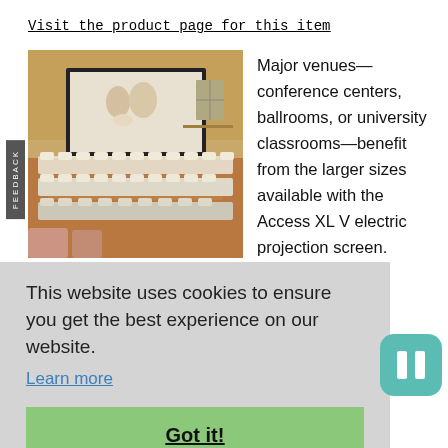Visit the product page for this item
[Figure (photo): A ballroom or conference venue with a large electric projection screen showing a wedding couple, with banquet chairs and tables set up beneath it.]
Major venues—conference centers, ballrooms, or university classrooms—benefit from the larger sizes available with the Access XL V electric projection screen.
This website uses cookies to ensure you get the best experience on our website. Learn more
Got it!
provides easier service and maintenance.